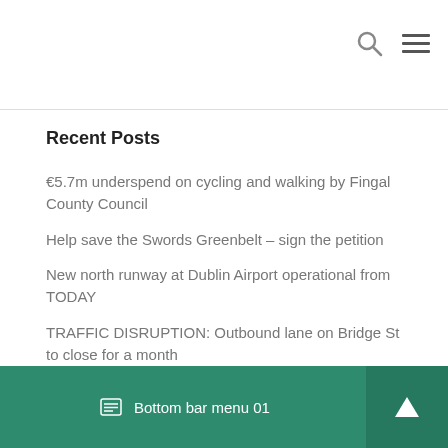Recent Posts
€5.7m underspend on cycling and walking by Fingal County Council
Help save the Swords Greenbelt – sign the petition
New north runway at Dublin Airport operational from TODAY
TRAFFIC DISRUPTION: Outbound lane on Bridge St to close for a month
Community garda numbers in Swords stagnate despite population boom
Bottom bar menu 01